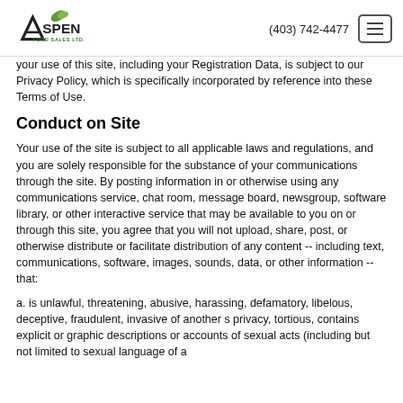Aspen Ford Sales Ltd. | (403) 742-4477
your use of this site, including your Registration Data, is subject to our Privacy Policy, which is specifically incorporated by reference into these Terms of Use.
Conduct on Site
Your use of the site is subject to all applicable laws and regulations, and you are solely responsible for the substance of your communications through the site. By posting information in or otherwise using any communications service, chat room, message board, newsgroup, software library, or other interactive service that may be available to you on or through this site, you agree that you will not upload, share, post, or otherwise distribute or facilitate distribution of any content -- including text, communications, software, images, sounds, data, or other information -- that:
a. is unlawful, threatening, abusive, harassing, defamatory, libelous, deceptive, fraudulent, invasive of another s privacy, tortious, contains explicit or graphic descriptions or accounts of sexual acts (including but not limited to sexual language of a